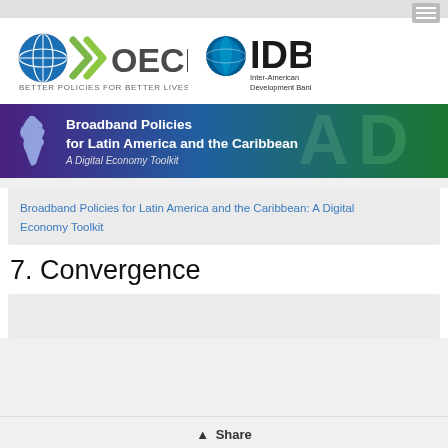[Figure (logo): OECD logo with globe and chevrons, text 'OECD BETTER POLICIES FOR BETTER LIVES' and IDB Inter-American Development Bank logo]
[Figure (illustration): Banner: 'Broadband Policies for Latin America and the Caribbean: A Digital Economy Toolkit' with purple-to-green gradient and map of Latin America]
Broadband Policies for Latin America and the Caribbean: A Digital Economy Toolkit
7. Convergence
Share